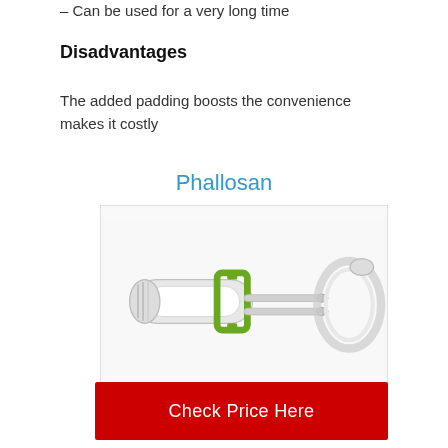– Can be used for a very long time
Disadvantages
The added padding boosts the convenience makes it costly
Phallosan
[Figure (photo): Photo of the Phallosan device — a medical/traction device with white cylindrical body, green bracket, chrome rods, and a clear plastic ring component]
Check Price Here